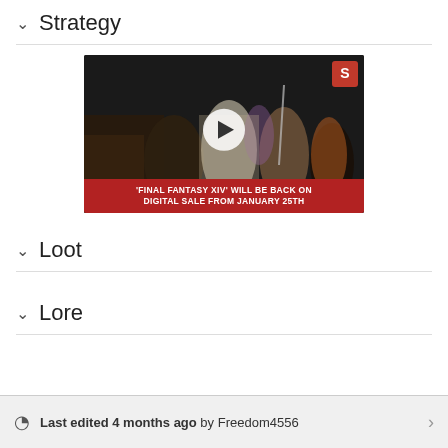Strategy
[Figure (screenshot): Video thumbnail showing Final Fantasy XIV characters in a dark scene with a play button overlay and a red banner reading 'FINAL FANTASY XIV' WILL BE BACK ON DIGITAL SALE FROM JANUARY 25TH, with Square Enix logo in top right corner.]
Loot
Lore
Last edited 4 months ago by Freedom4556